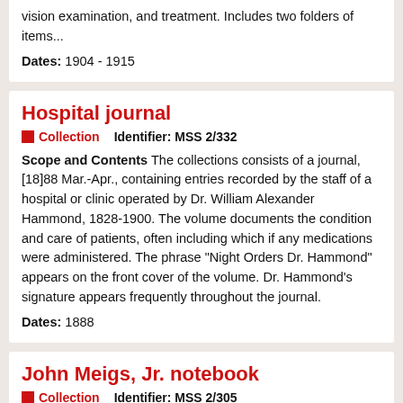vision examination, and treatment. Includes two folders of items...
Dates: 1904 - 1915
Hospital journal
Collection   Identifier: MSS 2/332
Scope and Contents The collections consists of a journal, [18]88 Mar.-Apr., containing entries recorded by the staff of a hospital or clinic operated by Dr. William Alexander Hammond, 1828-1900. The volume documents the condition and care of patients, often including which if any medications were administered. The phrase "Night Orders Dr. Hammond" appears on the front cover of the volume. Dr. Hammond's signature appears frequently throughout the journal.
Dates: 1888
John Meigs, Jr. notebook
Collection   Identifier: MSS 2/305